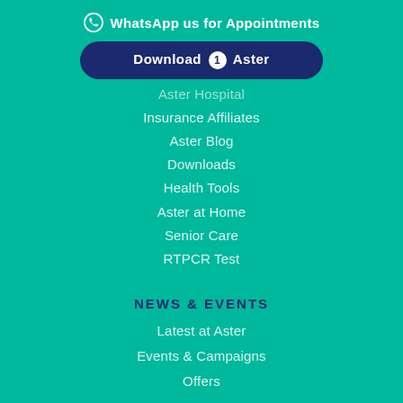WhatsApp us for Appointments
[Figure (other): Download 1 Aster app button]
Aster Hospital
Insurance Affiliates
Aster Blog
Downloads
Health Tools
Aster at Home
Senior Care
RTPCR Test
NEWS & EVENTS
Latest at Aster
Events & Campaigns
Offers
CONTACT US